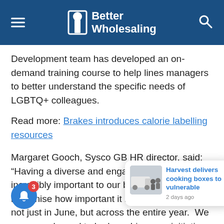Better Wholesaling
Development team has developed an on-demand training course to help lines managers to better understand the specific needs of LGBTQ+ colleagues.
Read more: Brakes introduces calorie labelling resources
Margaret Gooch, Sysco GB HR director, said: “Having a diverse and engaged workforce is incredibly important to our business and we recognise how important it is to show support not just in June, but across the entire year.  We are very pleased to be launching new initiatives, including training and development opportunities that will make a positive contribution to how...
Elsewhere at Brakes, the company recently released a